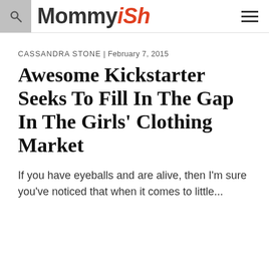Mommyish
CASSANDRA STONE | February 7, 2015
Awesome Kickstarter Seeks To Fill In The Gap In The Girls' Clothing Market
If you have eyeballs and are alive, then I'm sure you've noticed that when it comes to little...